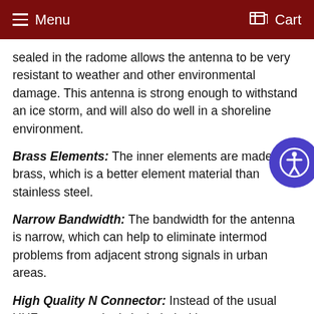Menu  Cart
sealed in the radome allows the antenna to be very resistant to weather and other environmental damage. This antenna is strong enough to withstand an ice storm, and will also do well in a shoreline environment.
Brass Elements:  The inner elements are made from brass, which is a better element material than stainless steel.
Narrow Bandwidth:  The bandwidth for the antenna is narrow, which can help to eliminate intermod problems from adjacent strong signals in urban areas.
High Quality N Connector:  Instead of the usual UHF connector that's included with most antennas, this antenna includes a 50 ohm female N connector, on the end of a small cable pigtail. N connectors are more water resistant and handle high frequencies better. Note: Due to the high frequency that these systems operate at, and the potential losses that can occur through cable, it is highly recommended